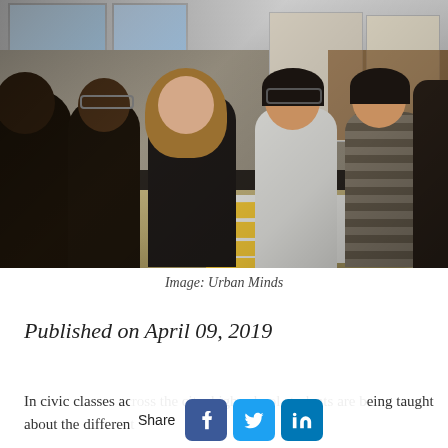[Figure (photo): Students collaborating around a table with yellow sticky notes in a bright classroom or studio space. Multiple students of diverse backgrounds are visible, some smiling, working on large paper sheets with yellow sticky note labels.]
Image: Urban Minds
Published on April 09, 2019
In civic classes across the city, high school students are being taught about the different
[Figure (other): Share buttons row: Facebook, Twitter, LinkedIn icons with Share label]